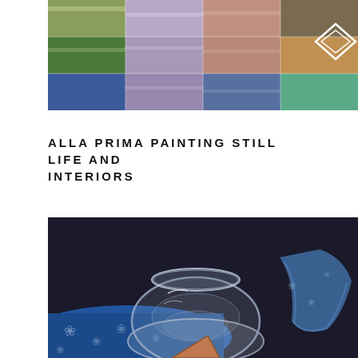[Figure (illustration): Grid of color swatches/landscape paintings arranged in rows and columns with a white diamond logo in the upper right area. Colors include greens, blues, purples, pinks, and earth tones.]
ALLA PRIMA PAINTING STILL LIFE AND INTERIORS
[Figure (illustration): A detailed painting of a glass bowl/vase on a blue floral patterned fabric, with a folded blue fabric and a triangular wooden object in the foreground, dark background.]